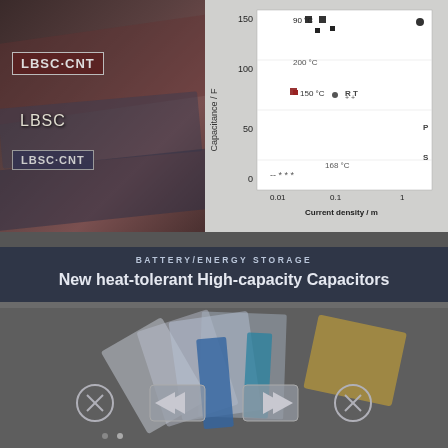[Figure (photo): Top card showing LBSC-CNT and LBSC capacitor material photos on left, and a capacitance vs current density chart on right. Overlaid text at bottom shows category and title.]
LBSC-CNT
LBSC
LBSC-CNT
BATTERY/ENERGY STORAGE
New heat-tolerant High-capacity Capacitors
[Figure (photo): Bottom card showing a partial circular/fan layout of various material cards or slides with navigation arrows on each side.]